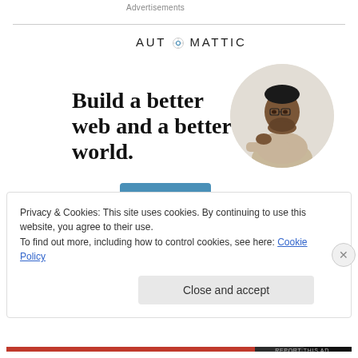Advertisements
[Figure (logo): Automattic company logo with compass icon replacing the O]
Build a better web and a better world.
[Figure (photo): Circular cropped photo of a man wearing glasses, resting his chin on his hand, looking upward thoughtfully]
Apply
REPORT THIS AD
Privacy & Cookies: This site uses cookies. By continuing to use this website, you agree to their use.
To find out more, including how to control cookies, see here: Cookie Policy
Close and accept
REPORT THIS AD